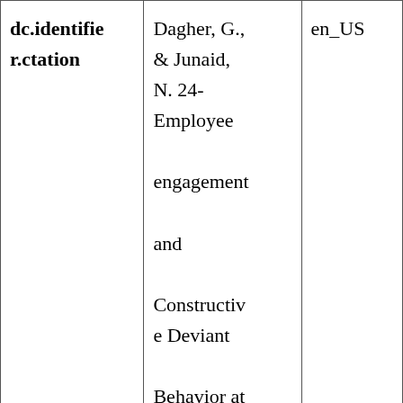| dc.identifier.ctation | Dagher, G., & Junaid, N. 24-Employee engagement and Constructive Deviant Behavior at the workplace: an empirical | en_US |